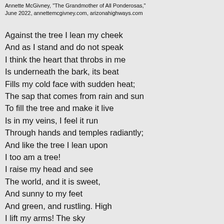Annette McGivney, "The Grandmother of All Ponderosas," June 2022, annettemcgivney.com, arizonahighways.com
Against the tree I lean my cheek
And as I stand and do not speak
I think the heart that throbs in me
Is underneath the bark, its beat
Fills my cold face with sudden heat;
The sap that comes from rain and sun
To fill the tree and make it live
Is in my veins, I feel it run
Through hands and temples radiantly;
And like the tree I lean upon
I too am a tree!
I raise my head and see
The world, and it is sweet,
And sunny to my feet
And green, and rustling. High
I lift my arms! The sky
Is just beyond my reach!
I understand the speech
Of squirrel and weed and stone.
When I am grown
A little taller still
I shall see past the hill